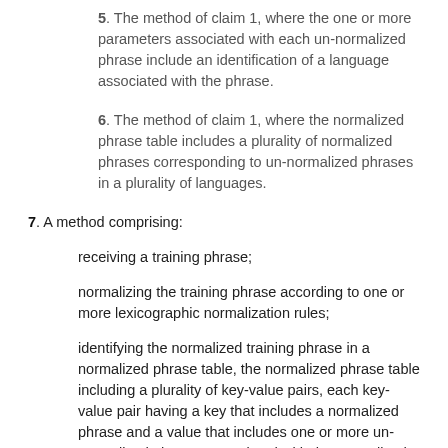5. The method of claim 1, where the one or more parameters associated with each un-normalized phrase include an identification of a language associated with the phrase.
6. The method of claim 1, where the normalized phrase table includes a plurality of normalized phrases corresponding to un-normalized phrases in a plurality of languages.
7. A method comprising:
receiving a training phrase;
normalizing the training phrase according to one or more lexicographic normalization rules;
identifying the normalized training phrase in a normalized phrase table, the normalized phrase table including a plurality of key-value pairs, each key-value pair having a key that includes a normalized phrase and a value that includes one or more un-normalized phrases associated with the normalized phrase of the key and one or more parameters associated